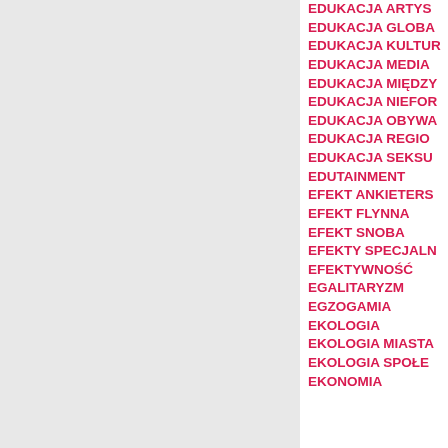EDUKACJA ARTYS...
EDUKACJA GLOBA...
EDUKACJA KULTUR...
EDUKACJA MEDIA...
EDUKACJA MIĘDZY...
EDUKACJA NIEFOR...
EDUKACJA OBYWA...
EDUKACJA REGIO...
EDUKACJA SEKSU...
EDUTAINMENT
EFEKT ANKIETERS...
EFEKT FLYNNA
EFEKT SNOBA
EFEKTY SPECJALN...
EFEKTYWNOŚĆ
EGALITARYZM
EGZOGAMIA
EKOLOGIA
EKOLOGIA MIASTA...
EKOLOGIA SPOŁE...
EKONOMIA